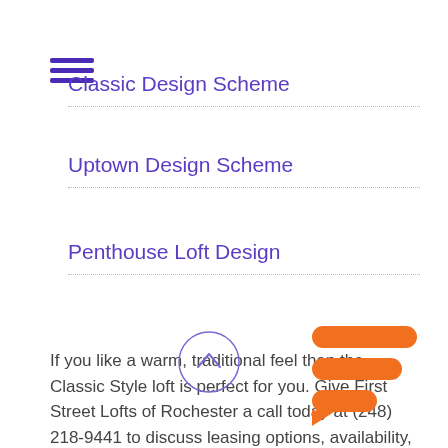Classic Design Scheme
Uptown Design Scheme
Penthouse Loft Design
If you like a warm, traditional feel then the Classic Style loft is perfect for you. Give First Street Lofts of Rochester a call today at (248) 218-9441 to discuss leasing options, availability, and more.
[Figure (illustration): Circle button with upward chevron arrow]
[Figure (logo): Orange chat/messaging logo icon]